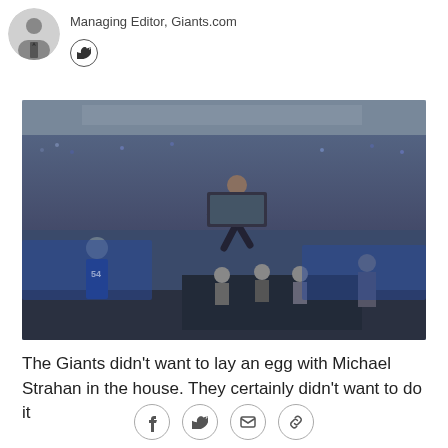Managing Editor, Giants.com
[Figure (photo): A man jumping energetically on a stage at MetLife Stadium during a ceremony, with NFL Giants players and officials seated behind him, and a packed crowd in the background. Player number 54 in Giants uniform visible on left.]
The Giants didn't want to lay an egg with Michael Strahan in the house. They certainly didn't want to do it